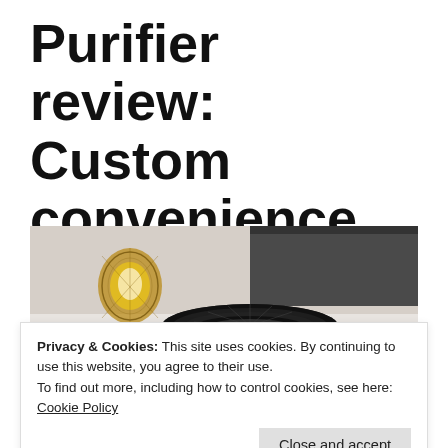Purifier review: Custom convenience
[Figure (photo): A black cylindrical air purifier sitting on a light wood floor in a living room, with a decorative wire lamp visible in the background and a TV stand partially visible.]
Privacy & Cookies: This site uses cookies. By continuing to use this website, you agree to their use.
To find out more, including how to control cookies, see here: Cookie Policy
Close and accept